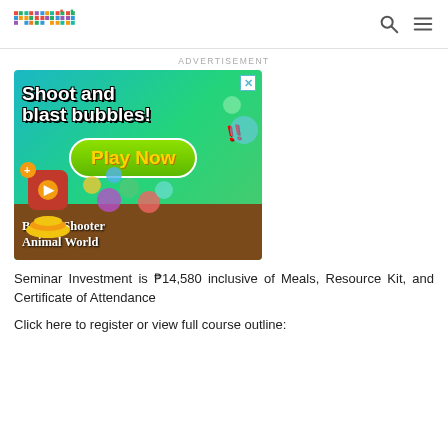primer [logo]
ADVERTISEMENT
[Figure (screenshot): Mobile game advertisement for 'Bubble Shooter Animal World' showing colorful game art with text 'Shoot and blast bubbles!' and a green 'Play Now' button, featuring cartoon animals and colorful bubbles on a teal/green gradient background.]
Seminar Investment is P14,580 inclusive of Meals, Resource Kit, and Certificate of Attendance
Click here to register or view full course outline: